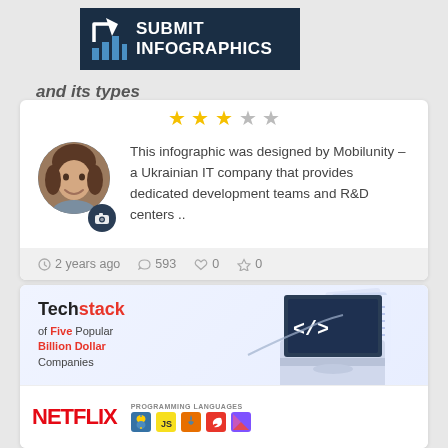[Figure (logo): Submit Infographics logo — dark navy blue box with white bar chart icon and white bold text 'SUBMIT INFOGRAPHICS']
and its types
[Figure (other): 3 gold filled stars and 2 grey empty stars (rating display)]
[Figure (photo): Circular avatar photo of a woman with brown hair smiling, with a camera badge icon below-right]
This infographic was designed by Mobilunity – a Ukrainian IT company that provides dedicated development teams and R&D centers ..
2 years ago   593   0   0
[Figure (infographic): Techstack of Five Popular Billion Dollar Companies infographic preview showing laptop with code symbol and Netflix branding with programming language icons]